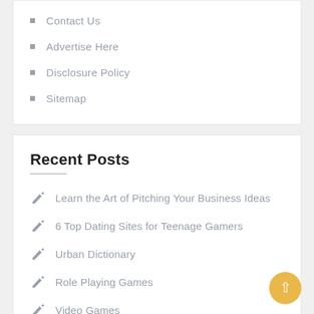Contact Us
Advertise Here
Disclosure Policy
Sitemap
Recent Posts
Learn the Art of Pitching Your Business Ideas
6 Top Dating Sites for Teenage Gamers
Urban Dictionary
Role Playing Games
Video Games